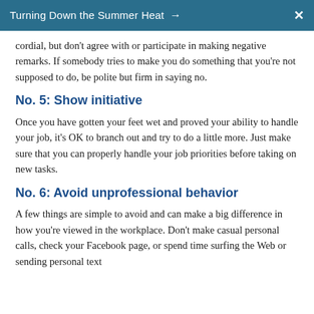Turning Down the Summer Heat →  ✕
cordial, but don't agree with or participate in making negative remarks. If somebody tries to make you do something that you're not supposed to do, be polite but firm in saying no.
No. 5: Show initiative
Once you have gotten your feet wet and proved your ability to handle your job, it's OK to branch out and try to do a little more. Just make sure that you can properly handle your job priorities before taking on new tasks.
No. 6: Avoid unprofessional behavior
A few things are simple to avoid and can make a big difference in how you're viewed in the workplace. Don't make casual personal calls, check your Facebook page, or spend time surfing the Web or sending personal text